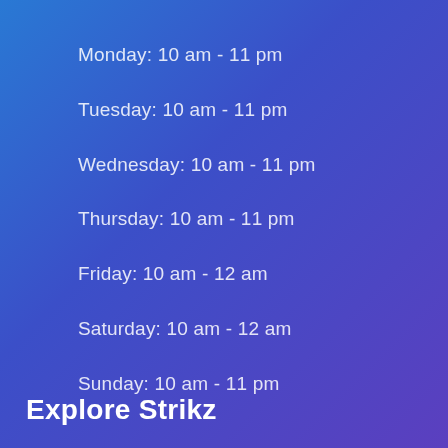Monday: 10 am - 11 pm
Tuesday: 10 am - 11 pm
Wednesday: 10 am - 11 pm
Thursday: 10 am - 11 pm
Friday: 10 am - 12 am
Saturday: 10 am - 12 am
Sunday: 10 am - 11 pm
Explore Strikz